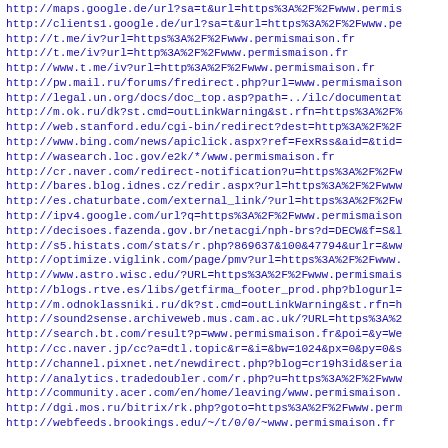http://maps.google.de/url?sa=t&url=https%3A%2F%2Fwww.permis...
http://clients1.google.de/url?sa=t&url=https%3A%2F%2Fwww.pe...
http://t.me/iv?url=https%3A%2F%2Fwww.permismaison.fr
http://t.me/iv?url=http%3A%2F%2Fwww.permismaison.fr
http://www.t.me/iv?url=http%3A%2F%2Fwww.permismaison.fr
http://pw.mail.ru/forums/fredirect.php?url=www.permismaison...
http://legal.un.org/docs/doc_top.asp?path=../ilc/documentat...
http://m.ok.ru/dk?st.cmd=outLinkWarning&st.rfn=https%3A%2F%...
http://web.stanford.edu/cgi-bin/redirect?dest=http%3A%2F%2F...
http://www.bing.com/news/apiclick.aspx?ref=FexRss&aid=&tid=...
http://wasearch.loc.gov/e2k/*/www.permismaison.fr
http://cr.naver.com/redirect-notification?u=https%3A%2F%2Fw...
http://bares.blog.idnes.cz/redir.aspx?url=https%3A%2F%2Fwww...
http://es.chaturbate.com/external_link/?url=https%3A%2F%2Fw...
http://ipv4.google.com/url?q=https%3A%2F%2Fwww.permismaison...
http://decisoes.fazenda.gov.br/netacgi/nph-brs?d=DECW&f=S&l...
http://s5.histats.com/stats/r.php?869637&100&47794&urlr=&ww...
http://optimize.viglink.com/page/pmv?url=https%3A%2F%2Fwww....
http://www.astro.wisc.edu/?URL=https%3A%2F%2Fwww.permismais...
http://blogs.rtve.es/libs/getfirma_footer_prod.php?blogurl=...
http://m.odnoklassniki.ru/dk?st.cmd=outLinkWarning&st.rfn=h...
http://sound2sense.archiveweb.mus.cam.ac.uk/?URL=https%3A%2...
http://search.bt.com/result?p=www.permismaison.fr&poi=&y=We...
http://cc.naver.jp/cc?a=dtl.topic&r=&i=&bw=1024&px=0&py=0&s...
http://channel.pixnet.net/newdirect.php?blog=cr19h3id&seria...
http://analytics.tradedoubler.com/r.php?u=https%3A%2F%2Fwww...
http://community.acer.com/en/home/leaving/www.permismaison....
http://dgi.mos.ru/bitrix/rk.php?goto=https%3A%2F%2Fwww.perm...
http://webfeeds.brookings.edu/~/t/0/0/~www.permismaison.fr